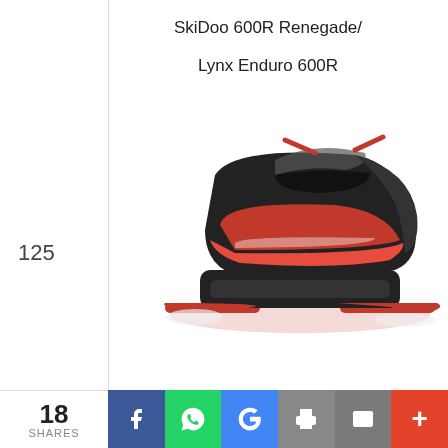125
SkiDoo 600R Renegade/ Lynx Enduro 600R
[Figure (photo): Red and black SkiDoo 600R Renegade / Lynx Enduro 600R snowmobile on white background]
Ski Doo Renegade 850/900 Turbo¤
[Figure (photo): Yellow and black Ski Doo Renegade 850/900 Turbo snowmobile on white background, partially visible]
18 SHARES  Facebook  WhatsApp  Google  Print  Email  More